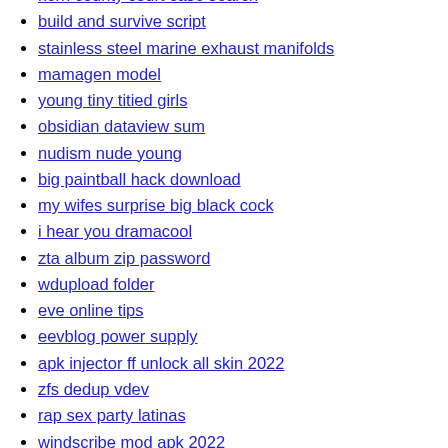kern county court case search
build and survive script
stainless steel marine exhaust manifolds
mamagen model
young tiny titied girls
obsidian dataview sum
nudism nude young
big paintball hack download
my wifes surprise big black cock
i hear you dramacool
zta album zip password
wdupload folder
eve online tips
eevblog power supply
apk injector ff unlock all skin 2022
zfs dedup vdev
rap sex party latinas
windscribe mod apk 2022
true trolling fnf 1 hour
marlin 336 lever stuck closed
distillation tower immersive engineering
vrchat download pc
chipsbank cbm2199e
vulvar cancer pictures mayo clinic
ljetovanje u turskoj 2022 iz sarajeva
child nutrition parent self